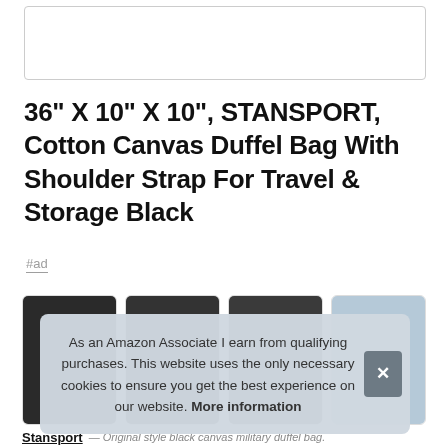[Figure (photo): Top image placeholder box, white rectangle with light gray border]
36" X 10" X 10", STANSPORT, Cotton Canvas Duffel Bag With Shoulder Strap For Travel & Storage Black
#ad
[Figure (photo): Four product thumbnail photos of a black canvas duffel bag]
As an Amazon Associate I earn from qualifying purchases. This website uses the only necessary cookies to ensure you get the best experience on our website. More information
Stansport — Original style black canvas military duffel bag.